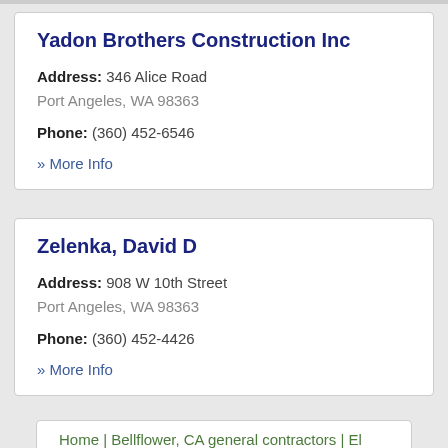Yadon Brothers Construction Inc
Address: 346 Alice Road
Port Angeles, WA 98363
Phone: (360) 452-6546
» More Info
Zelenka, David D
Address: 908 W 10th Street
Port Angeles, WA 98363
Phone: (360) 452-4426
» More Info
Home | Bellflower, CA general contractors | El Dorado